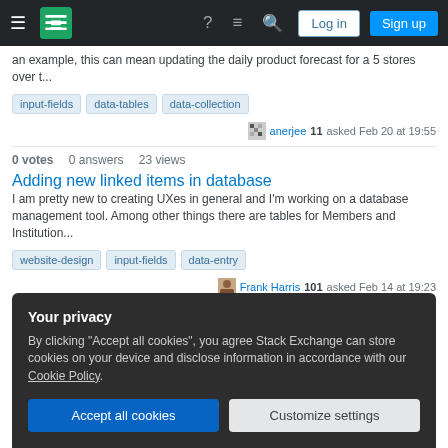[Figure (screenshot): Stack Exchange navigation bar with hamburger menu, logo, help icon, chat icon, search icon, Log in and Sign up buttons]
an example, this can mean updating the daily product forecast for a 5 stores over t...
input-fields   data-tables   data-collection
anerjee 11 asked Feb 20 at 19:55
0 votes  0 answers  23 views
Adding new linked items in database
I am pretty new to creating UXes in general and I'm working on a database management tool. Among other things there are tables for Members and Institution...
website-design   input-fields   data-entry
Frank Harris 101 asked Feb 14 at 19:23
Your privacy
By clicking "Accept all cookies", you agree Stack Exchange can store cookies on your device and disclose information in accordance with our Cookie Policy.
Accept all cookies   Customize settings